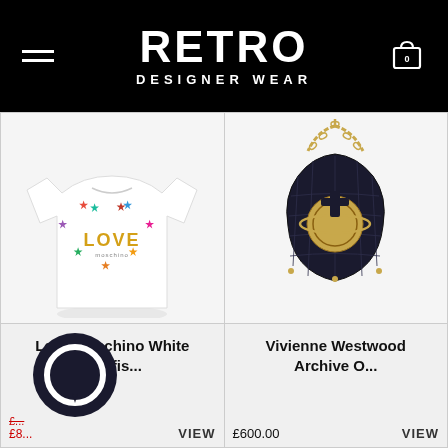RETRO DESIGNER WEAR
[Figure (photo): Love Moschino white t-shirt with colorful starfish heart LOVE graphic print]
Love Moschino White Starfis...
£... £8...
VIEW
[Figure (photo): Vivienne Westwood black quilted Archive Orb bag with gold chain strap and gold Orb logo]
Vivienne Westwood Archive O...
£600.00
VIEW